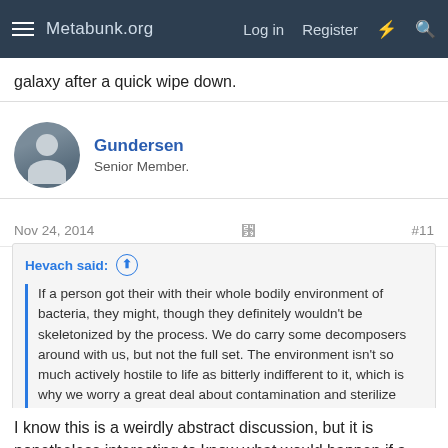Metabunk.org   Log in   Register
galaxy after a quick wipe down.
Gundersen
Senior Member.
Nov 24, 2014   #11
Hevach said:
If a person got their with their whole bodily environment of bacteria, they might, though they definitely wouldn't be skeletonized by the process. We do carry some decomposers around with us, but not the full set. The environment isn't so much actively hostile to life as bitterly indifferent to it, which is why we worry a great deal about contamination and sterilize everything we send there while we just sent Voyager out into the galaxy after a quick wipe down.
I know this is a weirdly abstract discussion, but it is nonetheless interesting to know what would happen if a body was dumped on the martian surface.